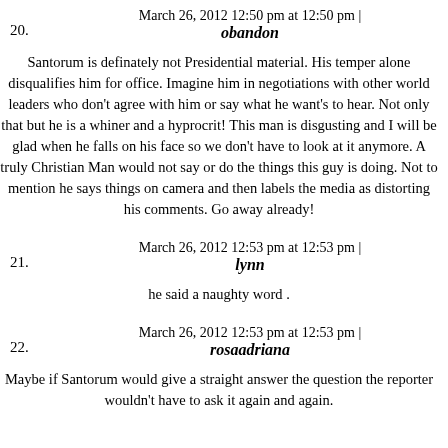March 26, 2012 12:50 pm at 12:50 pm | obandon
20.
Santorum is definately not Presidential material. His temper alone disqualifies him for office. Imagine him in negotiations with other world leaders who don't agree with him or say what he want's to hear. Not only that but he is a whiner and a hyprocrit! This man is disgusting and I will be glad when he falls on his face so we don't have to look at it anymore. A truly Christian Man would not say or do the things this guy is doing. Not to mention he says things on camera and then labels the media as distorting his comments. Go away already!
March 26, 2012 12:53 pm at 12:53 pm | lynn
21.
he said a naughty word .
March 26, 2012 12:53 pm at 12:53 pm | rosaadriana
22.
Maybe if Santorum would give a straight answer the question the reporter wouldn't have to ask it again and again.